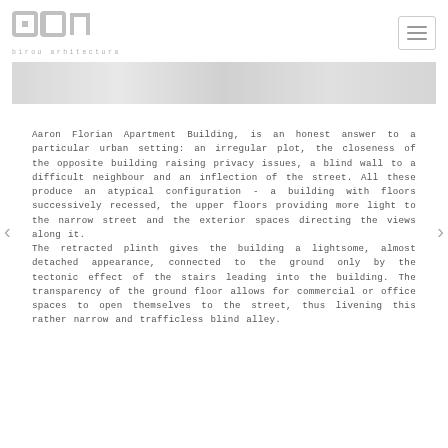[Figure (logo): ADN birou arhitectura logo - stylized letters a, d, n in gray with 'birou arhitectura' text below]
[Figure (photo): Gray horizontal banner image, likely a cropped architectural photo with muted tones]
Aaron Florian Apartment Building, is an honest answer to a particular urban setting: an irregular plot, the closeness of the opposite building raising privacy issues, a blind wall to a difficult neighbour and an inflection of the street. All these produce an atypical configuration - a building with floors successively recessed, the upper floors providing more light to the narrow street and the exterior spaces directing the views along it. The retracted plinth gives the building a lightsome, almost detached appearance, connected to the ground only by the tectonic effect of the stairs leading into the building. The transparency of the ground floor allows for commercial or office spaces to open themselves to the street, thus livening this rather narrow and trafficless blind alley.